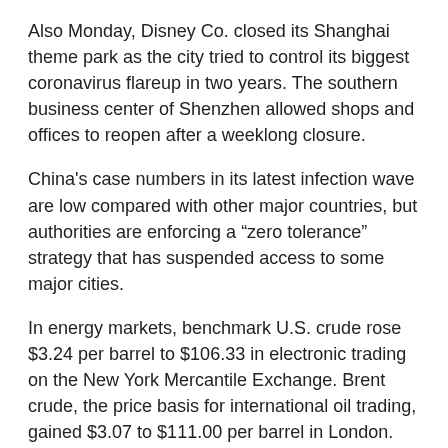Also Monday, Disney Co. closed its Shanghai theme park as the city tried to control its biggest coronavirus flareup in two years. The southern business center of Shenzhen allowed shops and offices to reopen after a weeklong closure.
China's case numbers in its latest infection wave are low compared with other major countries, but authorities are enforcing a “zero tolerance” strategy that has suspended access to some major cities.
In energy markets, benchmark U.S. crude rose $3.24 per barrel to $106.33 in electronic trading on the New York Mercantile Exchange. Brent crude, the price basis for international oil trading, gained $3.07 to $111.00 per barrel in London.
The dollar rose to 119.20 yen from Friday’s 119.13 yen. The euro edged up to $1.1049 from $1.1047.